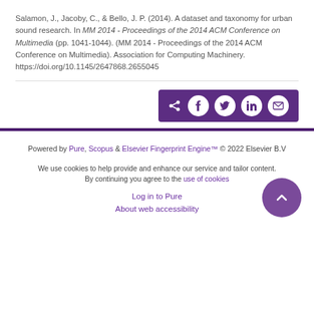Salamon, J., Jacoby, C., & Bello, J. P. (2014). A dataset and taxonomy for urban sound research. In MM 2014 - Proceedings of the 2014 ACM Conference on Multimedia (pp. 1041-1044). (MM 2014 - Proceedings of the 2014 ACM Conference on Multimedia). Association for Computing Machinery. https://doi.org/10.1145/2647868.2655045
[Figure (other): Social share button bar with share, Facebook, Twitter, LinkedIn, and email icons on a dark purple background]
Powered by Pure, Scopus & Elsevier Fingerprint Engine™ © 2022 Elsevier B.V
We use cookies to help provide and enhance our service and tailor content. By continuing you agree to the use of cookies
Log in to Pure
About web accessibility